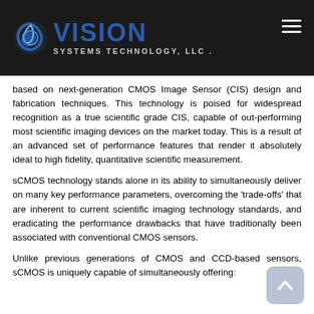[Figure (logo): Vision Systems Technology LLC logo with blue circular icon and company name on dark background header bar with hamburger menu icon]
based on next-generation CMOS Image Sensor (CIS) design and fabrication techniques. This technology is poised for widespread recognition as a true scientific grade CIS, capable of out-performing most scientific imaging devices on the market today. This is a result of an advanced set of performance features that render it absolutely ideal to high fidelity, quantitative scientific measurement.
sCMOS technology stands alone in its ability to simultaneously deliver on many key performance parameters, overcoming the 'trade-offs' that are inherent to current scientific imaging technology standards, and eradicating the performance drawbacks that have traditionally been associated with conventional CMOS sensors.
Unlike previous generations of CMOS and CCD-based sensors, sCMOS is uniquely capable of simultaneously offering: